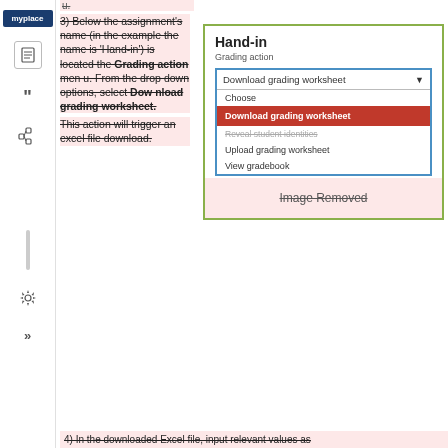[Figure (screenshot): Moodle sidebar with myplace button, document icon, quote icon, tree icon, gear icon, and arrows icon]
3) Below the assignment's name (in the example the name is 'Hand-in') is located the Grading action menu. From the drop down options, select Download grading worksheet. This action will trigger an excel file download.
[Figure (screenshot): Hand-in panel showing Grading action dropdown with 'Download grading worksheet' highlighted in red, and options: Choose, Download grading worksheet, Reveal student identities, Upload grading worksheet, View gradebook. Image Removed placeholder below.]
4) In the downloaded Excel file, input relevant values as